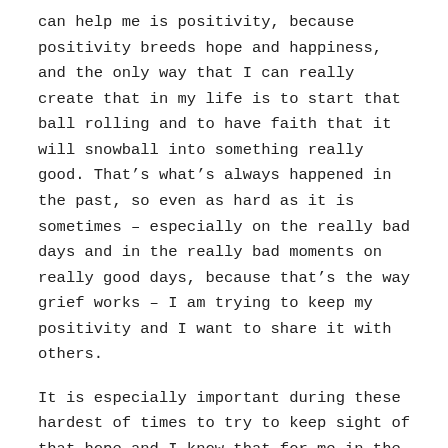can help me is positivity, because positivity breeds hope and happiness, and the only way that I can really create that in my life is to start that ball rolling and to have faith that it will snowball into something really good. That's what's always happened in the past, so even as hard as it is sometimes – especially on the really bad days and in the really bad moments on really good days, because that's the way grief works – I am trying to keep my positivity and I want to share it with others.
It is especially important during these hardest of times to try to keep sight of that hope and I know that for me in the